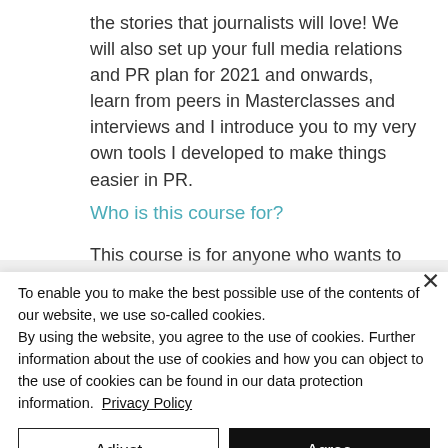the stories that journalists will love! We will also set up your full media relations and PR plan for 2021 and onwards, learn from peers in Masterclasses and interviews and I introduce you to my very own tools I developed to make things easier in PR.
Who is this course for?
This course is for anyone who wants to
To enable you to make the best possible use of the contents of our website, we use so-called cookies.
By using the website, you agree to the use of cookies. Further information about the use of cookies and how you can object to the use of cookies can be found in our data protection information.  Privacy Policy